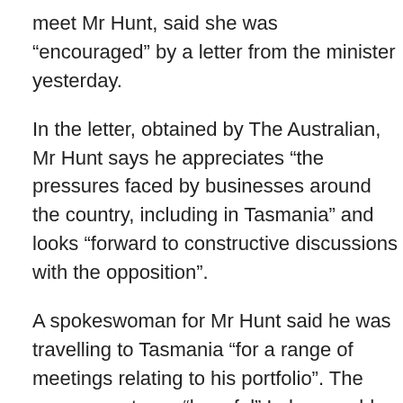meet Mr Hunt, said she was “encouraged” by a letter from the minister yesterday.
In the letter, obtained by The Australian, Mr Hunt says he appreciates “the pressures faced by businesses around the country, including in Tasmania” and looks “forward to constructive discussions with the opposition”.
A spokeswoman for Mr Hunt said he was travelling to Tasmania “for a range of meetings relating to his portfolio”. The government was “hopeful” Labor would return to the table and was “willing to hear the suggestions and proposals from the crossbench and will negotiate with the crossbench should Labor refuse to re-engage”.
Senator Lambie urged the government and opposition to restart RET talks, saying renewable energy providers